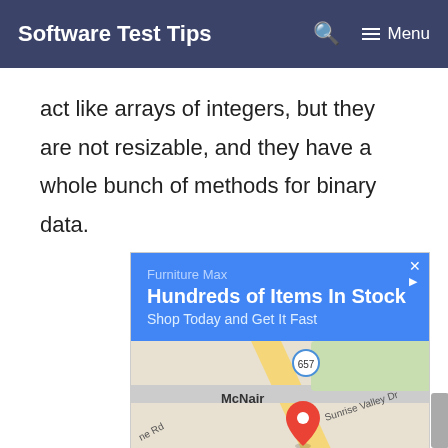Software Test Tips   🔍   ≡ Menu
act like arrays of integers, but they are not resizable, and they have a whole bunch of methods for binary data.
[Figure (screenshot): An advertisement for Furniture Max showing 'Hundreds of Items In Stock, Shop Today and Get It Fast' with a Google Maps location view near McNair and route 657, and a bottom bar with Topgolf logo, Dine-in and Delivery options, and a blue navigation arrow.]